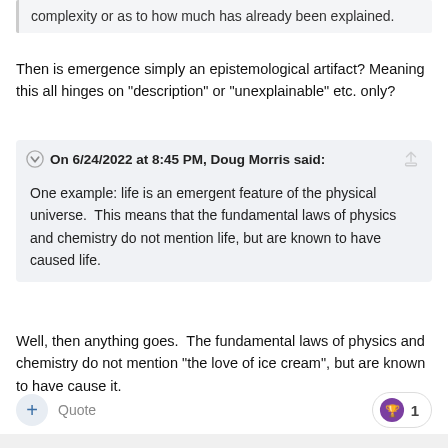complexity or as to how much has already been explained.
Then is emergence simply an epistemological artifact? Meaning this all hinges on "description" or "unexplainable" etc. only?
On 6/24/2022 at 8:45 PM, Doug Morris said:
One example: life is an emergent feature of the physical universe.  This means that the fundamental laws of physics and chemistry do not mention life, but are known to have caused life.
Well, then anything goes.  The fundamental laws of physics and chemistry do not mention "the love of ice cream", but are known to have cause it.